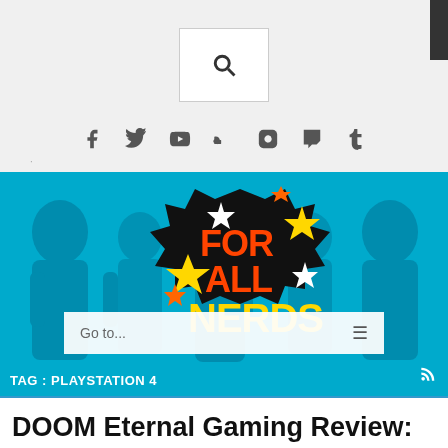[Figure (screenshot): Website header with search box and social media icons on grey background]
[Figure (logo): For All Nerds logo on cyan banner with background people silhouette]
Go to...
TAG : PLAYSTATION 4
DOOM Eternal Gaming Review: A Blood-Splattered Rollercoaster To Hell